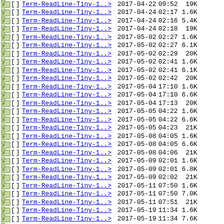| Icon | Type | Name | Date | Time | Size |
| --- | --- | --- | --- | --- | --- |
| [img] | [ ] | Term-ReadLine-Tiny-1..> | 2017-04-22 | 09:52 | 19K |
| [img] | [ ] | Term-ReadLine-Tiny-1..> | 2017-04-24 | 02:17 | 1.6K |
| [img] | [ ] | Term-ReadLine-Tiny-1..> | 2017-04-24 | 02:16 | 5.4K |
| [img] | [ ] | Term-ReadLine-Tiny-1..> | 2017-04-24 | 02:18 | 19K |
| [img] | [ ] | Term-ReadLine-Tiny-1..> | 2017-05-02 | 02:27 | 1.6K |
| [img] | [ ] | Term-ReadLine-Tiny-1..> | 2017-05-02 | 02:27 | 6.1K |
| [img] | [ ] | Term-ReadLine-Tiny-1..> | 2017-05-02 | 02:29 | 20K |
| [img] | [ ] | Term-ReadLine-Tiny-1..> | 2017-05-02 | 02:41 | 1.6K |
| [img] | [ ] | Term-ReadLine-Tiny-1..> | 2017-05-02 | 02:41 | 6.1K |
| [img] | [ ] | Term-ReadLine-Tiny-1..> | 2017-05-02 | 02:42 | 20K |
| [img] | [ ] | Term-ReadLine-Tiny-1..> | 2017-05-04 | 17:10 | 1.6K |
| [img] | [ ] | Term-ReadLine-Tiny-1..> | 2017-05-04 | 17:10 | 6.6K |
| [img] | [ ] | Term-ReadLine-Tiny-1..> | 2017-05-04 | 17:13 | 20K |
| [img] | [ ] | Term-ReadLine-Tiny-1..> | 2017-05-05 | 04:22 | 1.6K |
| [img] | [ ] | Term-ReadLine-Tiny-1..> | 2017-05-05 | 04:22 | 6.6K |
| [img] | [ ] | Term-ReadLine-Tiny-1..> | 2017-05-05 | 04:23 | 21K |
| [img] | [ ] | Term-ReadLine-Tiny-1..> | 2017-05-08 | 04:05 | 1.6K |
| [img] | [ ] | Term-ReadLine-Tiny-1..> | 2017-05-08 | 04:05 | 6.6K |
| [img] | [ ] | Term-ReadLine-Tiny-1..> | 2017-05-08 | 04:06 | 21K |
| [img] | [ ] | Term-ReadLine-Tiny-1..> | 2017-05-09 | 02:01 | 1.6K |
| [img] | [ ] | Term-ReadLine-Tiny-1..> | 2017-05-09 | 02:01 | 6.8K |
| [img] | [ ] | Term-ReadLine-Tiny-1..> | 2017-05-09 | 02:02 | 21K |
| [img] | [ ] | Term-ReadLine-Tiny-1..> | 2017-05-11 | 07:50 | 1.6K |
| [img] | [ ] | Term-ReadLine-Tiny-1..> | 2017-05-11 | 07:50 | 7.0K |
| [img] | [ ] | Term-ReadLine-Tiny-1..> | 2017-05-11 | 07:51 | 21K |
| [img] | [ ] | Term-ReadLine-Tiny-1..> | 2017-05-19 | 11:34 | 1.6K |
| [img] | [ ] | Term-ReadLine-Tiny-1..> | 2017-05-19 | 11:34 | 7.6K |
| [img] | [ ] | Term-ReadLine-Tiny-1..> | 2017-05-19 | 11:35 | 22K |